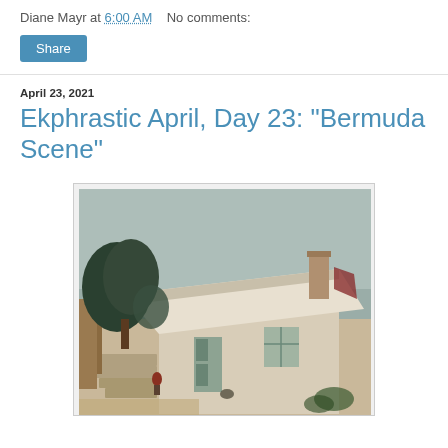Diane Mayr at 6:00 AM    No comments:
Share
April 23, 2021
Ekphrastic April, Day 23: "Bermuda Scene"
[Figure (illustration): Watercolor painting of a Bermuda cottage scene with white walls, a slanted roof, stone steps, trees, and overcast sky — warm sepia and muted teal tones.]